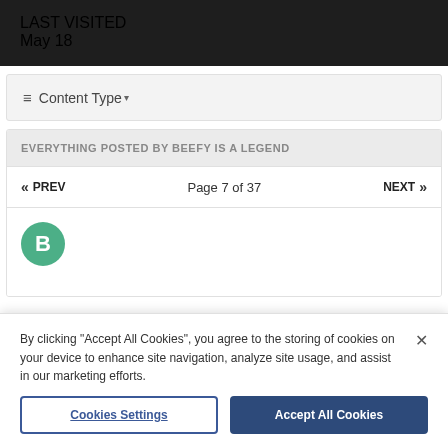LAST VISITED
May 18
≡ Content Type ▾
EVERYTHING POSTED BY BEEFY IS A LEGEND
« PREV   Page 7 of 37   NEXT »
[Figure (other): Green circle avatar with letter B]
By clicking "Accept All Cookies", you agree to the storing of cookies on your device to enhance site navigation, analyze site usage, and assist in our marketing efforts.
Cookies Settings   Accept All Cookies